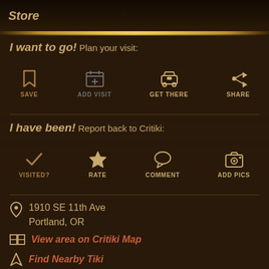Store
I want to go! Plan your visit:
[Figure (infographic): Four action buttons: SAVE (bookmark icon), ADD VISIT (calendar icon), GET THERE (car icon), SHARE (share arrow icon)]
I have been! Report back to Critiki:
[Figure (infographic): Four action buttons: VISITED? (checkmark icon), RATE (star icon), COMMENT (speech bubble icon), ADD PICS (camera icon)]
1910 SE 11th Ave
Portland, OR
View area on Critiki Map
Find Nearby Tiki
Opened in November 2015
Closed in April 2016